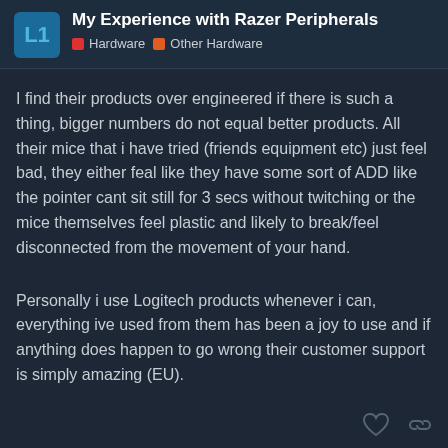My Experience with Razer Peripherals | Hardware | Other Hardware
I find their products over engineered if there is such a thing, bigger numbers do not equal better products. All their mice that i have tried (friends equipment etc) just feel bad, they either feal like they have some sort of ADD like the pointer cant sit still for 3 secs without twitching or the mice themselves feel plastic and likely to break/feel disconnected from the movement of your hand.
Personally i use Logitech products whenever i can, everything ive used from them has been a joy to use and if anything does happen to go wrong their customer support is simply amazing (EU).
Bramen
2 / 9